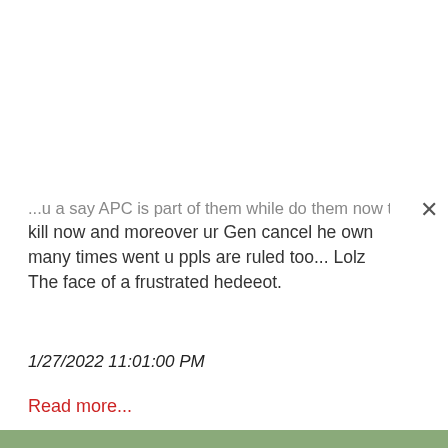...u a say APC is part of them while do them now to kill now and moreover ur Gen cancel he own many times went u ppls are ruled too... Lolz The face of a frustrated hedeeot.
1/27/2022 11:01:00 PM
Read more...
[Figure (photo): Photo of a man wearing a white and red traditional Hausa cap and white attire, speaking into microphones, with people in green attire in the background]